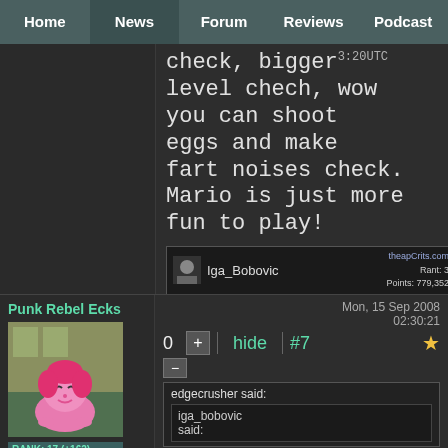Home | News | Forum | Reviews | Podcast
check, bigger level chech, wow you can shoot eggs and make fart noises check. Mario is just more fun to play!
Iga_Bobovic  Rant: 3  Points: 779,352
Punk Rebel Ecks
RANK: 17 (+162)
Country: [US flag]
Comments: 1751
Mon, 15 Sep 2008 02:30:21
0  hide  #7
edgecrusher said:
iga_bobovic said: